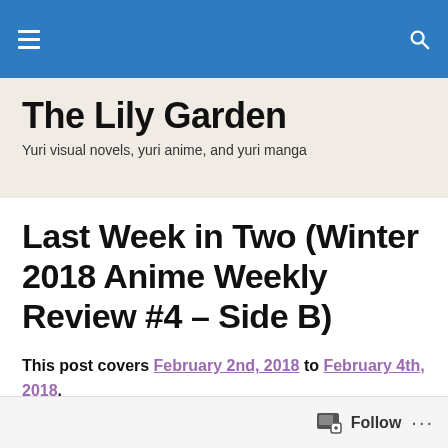The Lily Garden [navigation bar with hamburger menu and search icon]
The Lily Garden
Yuri visual novels, yuri anime, and yuri manga
Last Week in Two (Winter 2018 Anime Weekly Review #4 – Side B)
This post covers February 2nd, 2018 to February 4th, 2018.
Follow ...